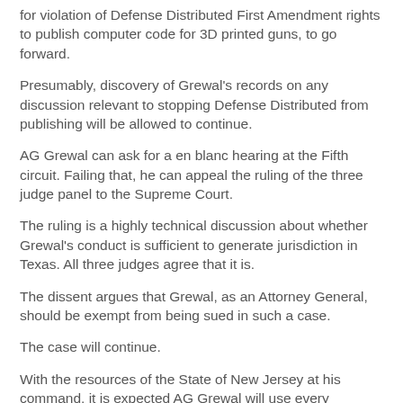for violation of Defense Distributed First Amendment rights to publish computer code for 3D printed guns, to go forward.
Presumably, discovery of Grewal's records on any discussion relevant to stopping Defense Distributed from publishing will be allowed to continue.
AG Grewal can ask for a en blanc hearing at the Fifth circuit. Failing that, he can appeal the ruling of the three judge panel to the Supreme Court.
The ruling is a highly technical discussion about whether Grewal's conduct is sufficient to generate jurisdiction in Texas. All three judges agree that it is.
The dissent argues that Grewal, as an Attorney General, should be exempt from being sued in such a case.
The case will continue.
With the resources of the State of New Jersey at his command, it is expected AG Grewal will use every opportunity to delay and derail this case.